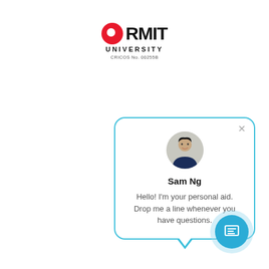[Figure (logo): RMIT University logo with red circle, bold RMIT text, UNIVERSITY subtitle, and CRICOS No. 00255B]
[Figure (screenshot): Live chat popup widget featuring avatar photo of agent Sam Ng, name, and greeting message: Hello! I'm your personal aid. Drop me a line whenever you have questions. Blue bordered speech bubble with close button.]
[Figure (other): Teal chat FAB button with message/document icon]